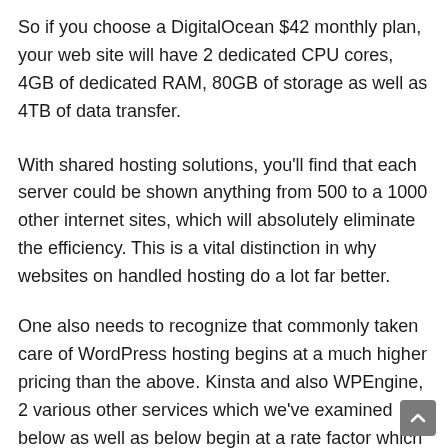So if you choose a DigitalOcean $42 monthly plan, your web site will have 2 dedicated CPU cores, 4GB of dedicated RAM, 80GB of storage as well as 4TB of data transfer.
With shared hosting solutions, you'll find that each server could be shown anything from 500 to a 1000 other internet sites, which will absolutely eliminate the efficiency. This is a vital distinction in why websites on handled hosting do a lot far better.
One also needs to recognize that commonly taken care of WordPress hosting begins at a much higher pricing than the above. Kinsta and also WPEngine, 2 various other services which we've examined below as well as below begin at a rate factor which is a number of multiples higher.